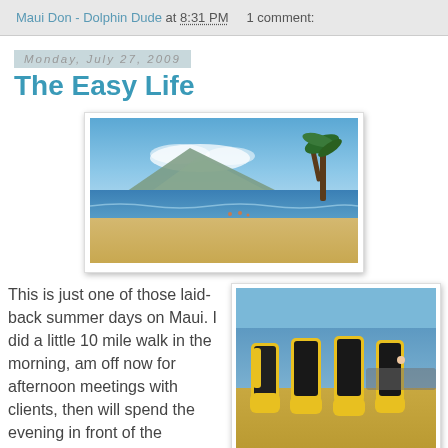Maui Don - Dolphin Dude at 8:31 PM    1 comment:
Monday, July 27, 2009
The Easy Life
[Figure (photo): Panoramic beach scene with mountain in background, blue sky, palm trees on right, beach-goers visible, sandy shore]
This is just one of those laid-back summer days on Maui. I did a little 10 mile walk in the morning, am off now for afternoon meetings with clients, then will spend the evening in front of the computer working.
[Figure (photo): Yellow and black scuba/dive equipment (BCDs or tanks) lined up on sandy beach, ocean visible in background]
It was a really great the morning during the early...